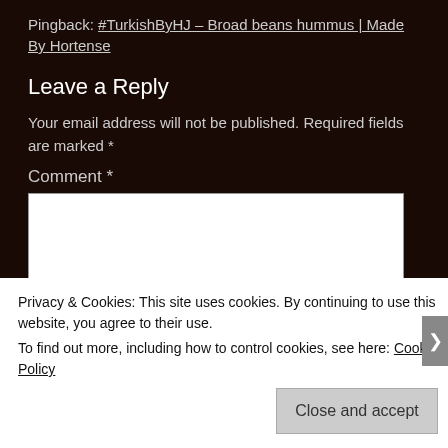Pingback: #TurkishByHJ – Broad beans hummus | Made By Hortense
Leave a Reply
Your email address will not be published. Required fields are marked *
Comment *
[Figure (screenshot): Empty comment text area input box]
Privacy & Cookies: This site uses cookies. By continuing to use this website, you agree to their use.
To find out more, including how to control cookies, see here: Cookie Policy
Close and accept